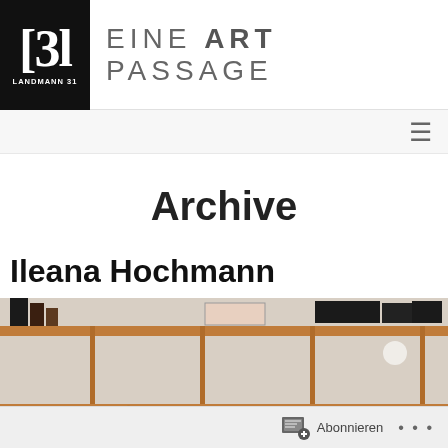[31 LANDMANN 31 | EINE ART PASSAGE
Archive
Ileana Hochmann
[Figure (photo): Photo of a wooden shelf display with artwork prints and objects, showing a person partially visible below the shelf.]
Abonnieren ...